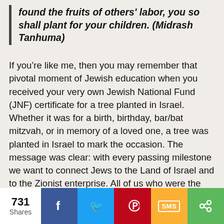found the fruits of others' labor, you so shall plant for your children. (Midrash Tanhuma)
If you’re like me, then you may remember that pivotal moment of Jewish education when you received your very own Jewish National Fund (JNF) certificate for a tree planted in Israel. Whether it was for a birth, birthday, bar/bat mitzvah, or in memory of a loved one, a tree was planted in Israel to mark the occasion. The message was clear: with every passing milestone we want to connect Jews to the Land of Israel and to the Zionist enterprise. All of us who were the fortunate recipients of such trees knew in the recesses of our mind that somewhere in that strip of land, in some forest, was our tree, our little piece of Israel. As the certificates read, the JNF wished us the following: “We wish you
731 Shares | Facebook | Twitter | Pinterest | SMS | Share